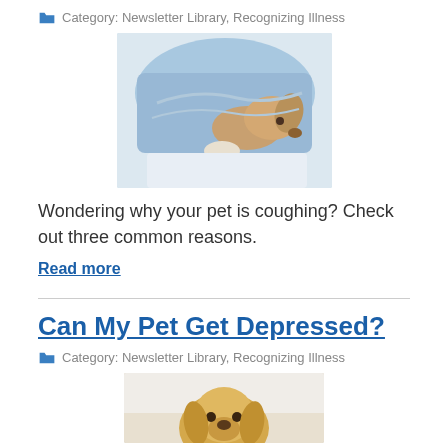Category: Newsletter Library, Recognizing Illness
[Figure (photo): A dog lying under a blue blanket, looking tired or ill]
Wondering why your pet is coughing? Check out three common reasons.
Read more
Can My Pet Get Depressed?
Category: Newsletter Library, Recognizing Illness
[Figure (photo): Partial image of a golden/yellow dog looking upward]